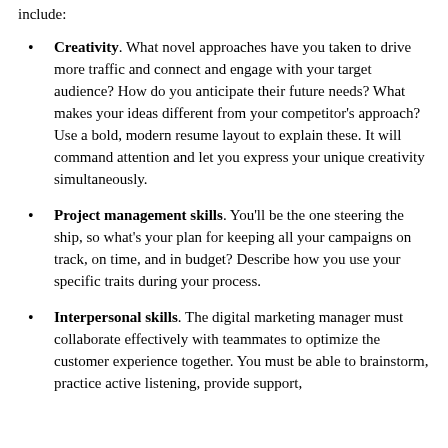include:
Creativity. What novel approaches have you taken to drive more traffic and connect and engage with your target audience? How do you anticipate their future needs? What makes your ideas different from your competitor's approach? Use a bold, modern resume layout to explain these. It will command attention and let you express your unique creativity simultaneously.
Project management skills. You'll be the one steering the ship, so what's your plan for keeping all your campaigns on track, on time, and in budget? Describe how you use your specific traits during your process.
Interpersonal skills. The digital marketing manager must collaborate effectively with teammates to optimize the customer experience together. You must be able to brainstorm, practice active listening, provide support, and more things with…